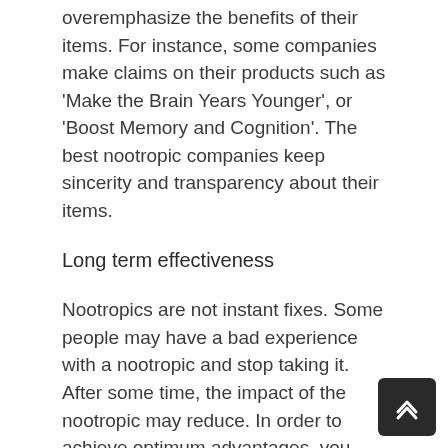overemphasize the benefits of their items. For instance, some companies make claims on their products such as 'Make the Brain Years Younger', or 'Boost Memory and Cognition'. The best nootropic companies keep sincerity and transparency about their items.
Long term effectiveness
Nootropics are not instant fixes. Some people may have a bad experience with a nootropic and stop taking it. After some time, the impact of the nootropic may reduce. In order to achieve optimum advantages, you may need to take nootropics for a long time.
Memory and focus improvement
With making use of some nootropics, you can enhance your memory and focus. Nootropics are